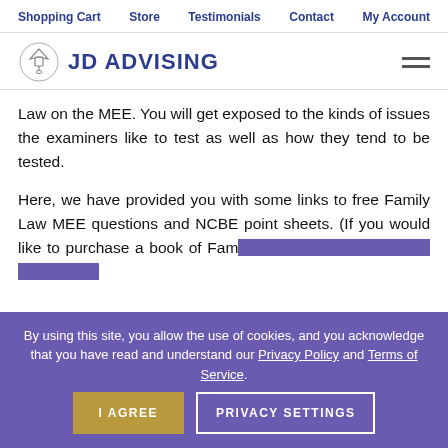Shopping Cart  Store  Testimonials  Contact  My Account
[Figure (logo): JD Advising logo with graduation cap icon and text JD ADVISING]
Law on the MEE. You will get exposed to the kinds of issues the examiners like to test as well as how they tend to be tested.
Here, we have provided you with some links to free Family Law MEE questions and NCBE point sheets. (If you would like to purchase a book of Family Law MEE questions and NCBE point...
By using this site, you allow the use of cookies, and you acknowledge that you have read and understand our Privacy Policy and Terms of Service.
I AGREE  PRIVACY SETTINGS